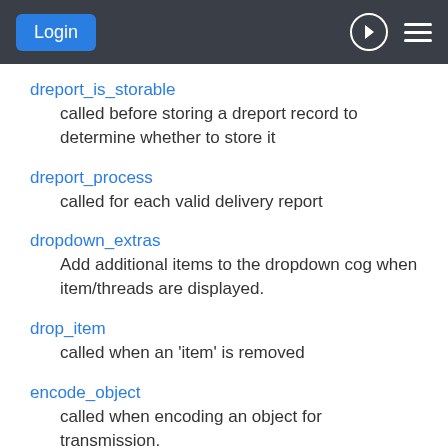Login
dreport_is_storable
called before storing a dreport record to determine whether to store it
dreport_process
called for each valid delivery report
dropdown_extras
Add additional items to the dropdown cog when item/threads are displayed.
drop_item
called when an 'item' is removed
encode_object
called when encoding an object for transmission.
enotify
called before any notification